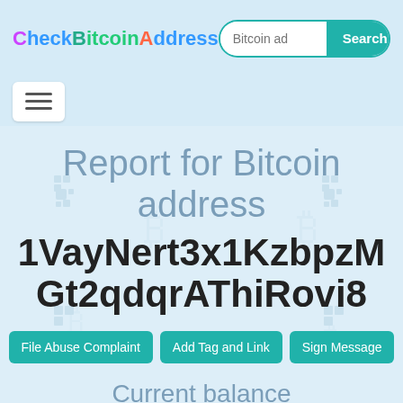CheckBitcoinAddress
Report for Bitcoin address
1VayNert3x1KzbpzMGt2qdqrAThiRovi8
File Abuse Complaint
Add Tag and Link
Sign Message
Current balance
$5278.5